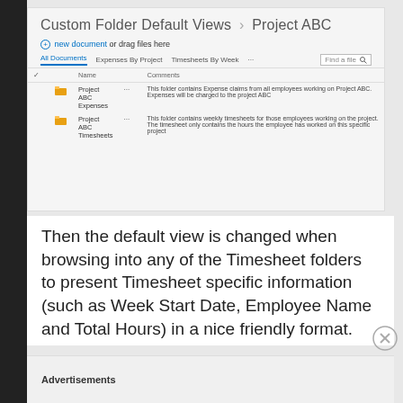[Figure (screenshot): SharePoint Custom Folder Default Views > Project ABC interface showing two folders: Project ABC Expenses and Project ABC Timesheets with comments, navigation tabs (All Documents, Expenses By Project, Timesheets By Week), and a search box.]
Then the default view is changed when browsing into any of the Timesheet folders to present Timesheet specific information (such as Week Start Date, Employee Name and Total Hours) in a nice friendly format.
Advertisements